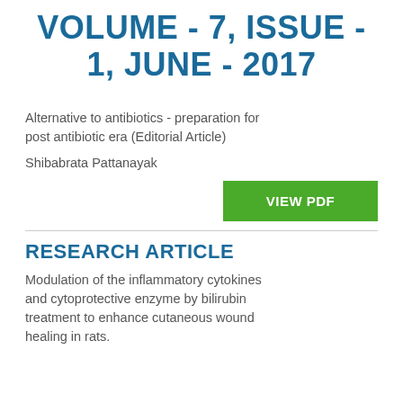VOLUME - 7, ISSUE - 1, JUNE - 2017
Alternative to antibiotics - preparation for post antibiotic era (Editorial Article)
Shibabrata Pattanayak
RESEARCH ARTICLE
Modulation of the inflammatory cytokines and cytoprotective enzyme by bilirubin treatment to enhance cutaneous wound healing in rats.